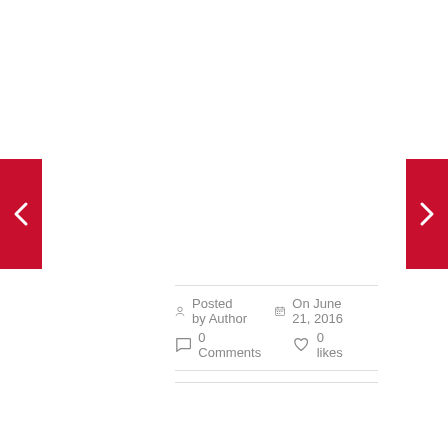[Figure (other): Left navigation arrow button (red background with white chevron pointing left)]
[Figure (other): Right navigation arrow button (red background with white chevron pointing right)]
Posted by Author  On June 21, 2016  0 Comments  0 likes